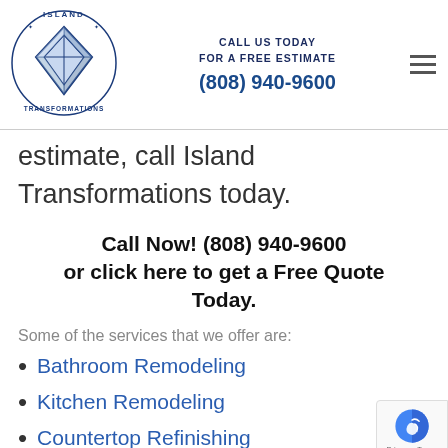CALL US TODAY FOR A FREE ESTIMATE (808) 940-9600
estimate, call Island Transformations today.
Call Now! (808) 940-9600 or click here to get a Free Quote Today.
Some of the services that we offer are:
Bathroom Remodeling
Kitchen Remodeling
Countertop Refinishing